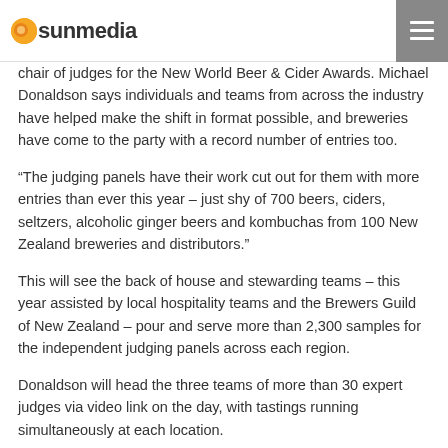sunmedia
chair of judges for the New World Beer & Cider Awards. Michael Donaldson says individuals and teams from across the industry have helped make the shift in format possible, and breweries have come to the party with a record number of entries too.
“The judging panels have their work cut out for them with more entries than ever this year – just shy of 700 beers, ciders, seltzers, alcoholic ginger beers and kombuchas from 100 New Zealand breweries and distributors.”
This will see the back of house and stewarding teams – this year assisted by local hospitality teams and the Brewers Guild of New Zealand – pour and serve more than 2,300 samples for the independent judging panels across each region.
Donaldson will head the three teams of more than 30 expert judges via video link on the day, with tastings running simultaneously at each location.
The panels will taste each entry, debating in-depth and